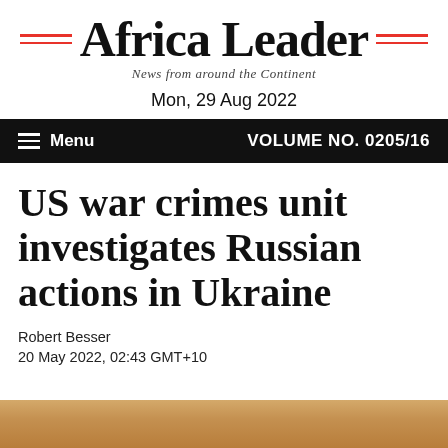Africa Leader — News from around the Continent
Mon, 29 Aug 2022
Menu   VOLUME NO. 0205/16
US war crimes unit investigates Russian actions in Ukraine
Robert Besser
20 May 2022, 02:43 GMT+10
[Figure (photo): Bottom strip showing partial photo of a person in a room with ceiling lights]